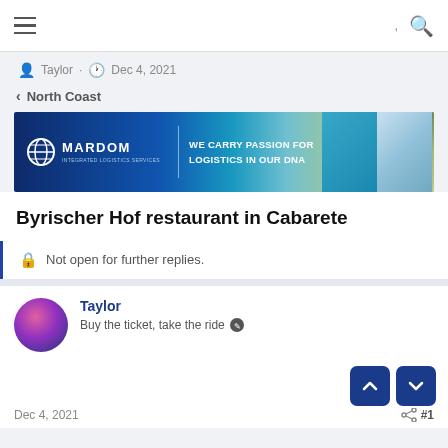Navigation bar with hamburger menu and search icon
Taylor · Dec 4, 2021
< North Coast
[Figure (infographic): Mardom logistics banner advertisement: dark blue background with globe icon and text 'WE CARRY PASSION FOR LOGISTICS IN OUR DNA', with images of shipping/port on the right]
Byrischer Hof restaurant in Cabarete
Not open for further replies.
Taylor
Buy the ticket, take the ride
Dec 4, 2021